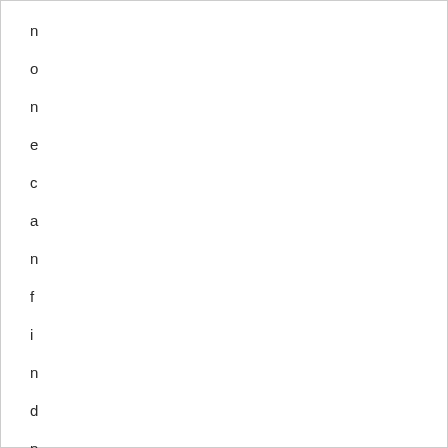n
o
n
e
c
a
n
f
i
n
d
n
o
w
a
v
a
i
l
a
b
l
e
.
k